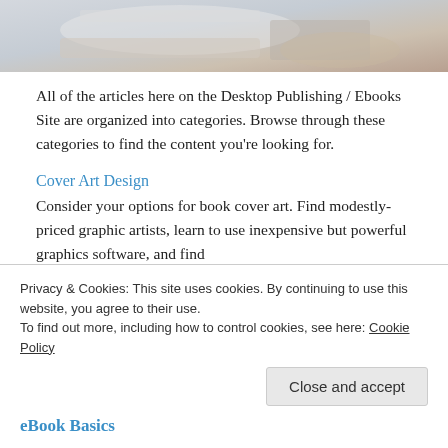[Figure (photo): Blurred photo of books and stationery on a desk, partial view at the top of the page]
All of the articles here on the Desktop Publishing / Ebooks Site are organized into categories. Browse through these categories to find the content you're looking for.
Cover Art Design
Consider your options for book cover art. Find modestly-priced graphic artists, learn to use inexpensive but powerful graphics software, and find
Privacy & Cookies: This site uses cookies. By continuing to use this website, you agree to their use.
To find out more, including how to control cookies, see here: Cookie Policy
Close and accept
eBook Basics